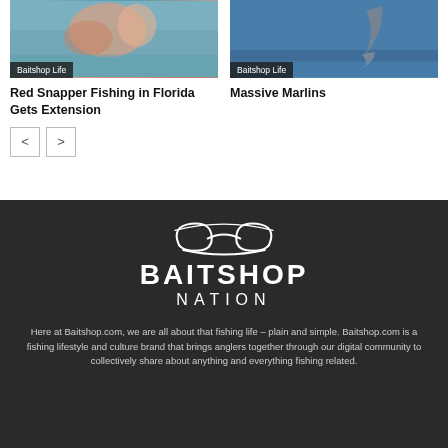[Figure (photo): Photo of a person on a boat holding a red snapper fish with 'Baitshop Life' badge overlay]
[Figure (photo): Photo of a marlin jumping out of the ocean water with 'Baitshop Life' badge overlay]
Red Snapper Fishing in Florida Gets Extension
Massive Marlins
[Figure (illustration): Navigation previous/next buttons (< and >)]
[Figure (logo): Baitshop Nation logo with stylized fish hook/wave emblem above the text BAITSHOP NATION]
Here at Baitshop.com, we are all about that fishing life – plain and simple. Baitshop.com is a fishing lifestyle and culture brand that brings anglers together through our digital community to collectively share about anything and everything fishing related.